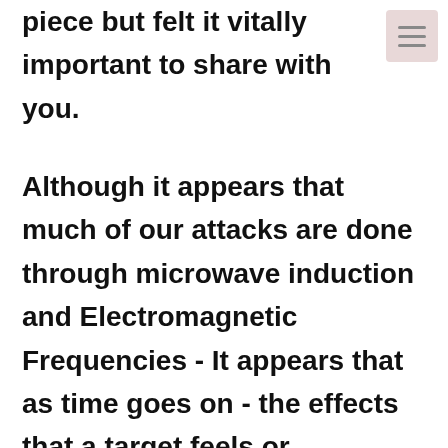piece but felt it vitally important to share with you.
Although it appears that much of our attacks are done through microwave induction and Electromagnetic Frequencies - It appears that as time goes on - the effects that a target feels or experiences seem to be Hypersonic, Ultrasonic and Infrasonic in origin - and